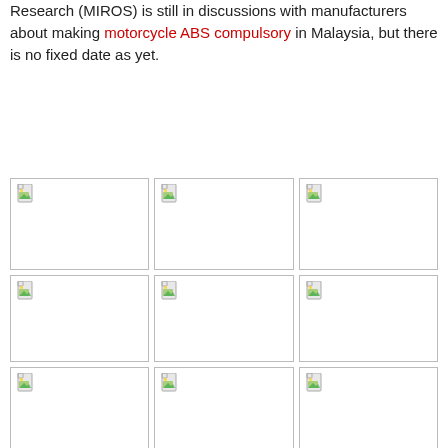Research (MIROS) is still in discussions with manufacturers about making motorcycle ABS compulsory in Malaysia, but there is no fixed date as yet.
[Figure (photo): Broken image placeholder - top left of 3x3 grid row 1]
[Figure (photo): Broken image placeholder - top center of 3x3 grid row 1]
[Figure (photo): Broken image placeholder - top right of 3x3 grid row 1]
[Figure (photo): Broken image placeholder - middle left of 3x3 grid row 2]
[Figure (photo): Broken image placeholder - middle center of 3x3 grid row 2]
[Figure (photo): Broken image placeholder - middle right of 3x3 grid row 2]
[Figure (photo): Broken image placeholder - bottom left of 3x3 grid row 3]
[Figure (photo): Broken image placeholder - bottom center of 3x3 grid row 3]
[Figure (photo): Broken image placeholder - bottom right of 3x3 grid row 3]
[Figure (photo): Broken image placeholder - partial row bottom left]